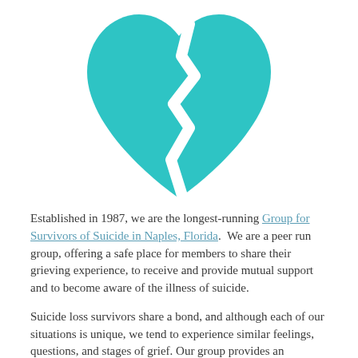[Figure (logo): Teal/turquoise broken heart logo with a white zigzag crack down the center, representing a survivors of suicide support group.]
Established in 1987, we are the longest-running Group for Survivors of Suicide in Naples, Florida. We are a peer run group, offering a safe place for members to share their grieving experience, to receive and provide mutual support and to become aware of the illness of suicide.
Suicide loss survivors share a bond, and although each of our situations is unique, we tend to experience similar feelings, questions, and stages of grief. Our group provides an